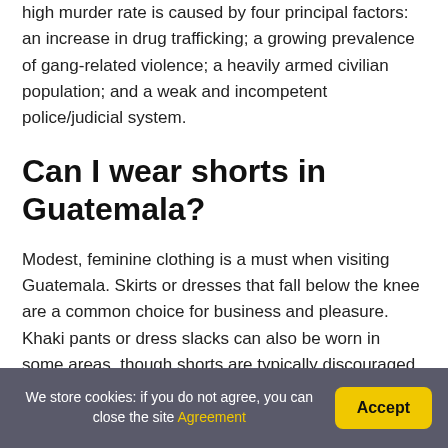high murder rate is caused by four principal factors: an increase in drug trafficking; a growing prevalence of gang-related violence; a heavily armed civilian population; and a weak and incompetent police/judicial system.
Can I wear shorts in Guatemala?
Modest, feminine clothing is a must when visiting Guatemala. Skirts or dresses that fall below the knee are a common choice for business and pleasure. Khaki pants or dress slacks can also be worn in some areas, though shorts are typically discouraged and often identify a
We store cookies: if you do not agree, you can close the site Agreement [Accept button]